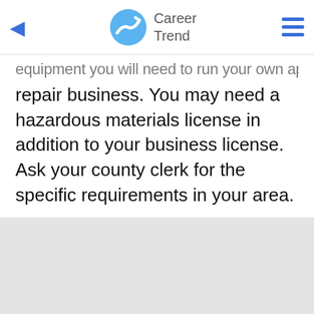Career Trend
equipment you will need to run your own appliances repair business. You may need a hazardous materials license in addition to your business license. Ask your county clerk for the specific requirements in your area.